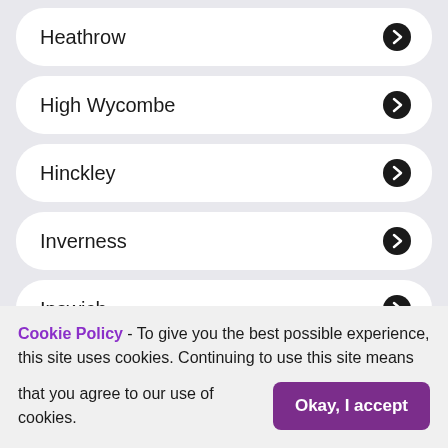Heathrow
High Wycombe
Hinckley
Inverness
Ipswich
Jersey
Kingston upon Hull
Cookie Policy - To give you the best possible experience, this site uses cookies. Continuing to use this site means that you agree to our use of cookies.